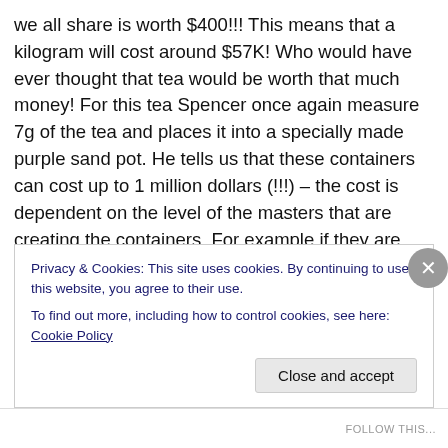we all share is worth $400!!! This means that a kilogram will cost around $57K! Who would have ever thought that tea would be worth that much money! For this tea Spencer once again measure 7g of the tea and places it into a specially made purple sand pot. He tells us that these containers can cost up to 1 million dollars (!!!) – the cost is dependent on the level of the masters that are creating the containers. For example if they are Level 2 masters the cost of the containers (depending on the size and the type) that they make could be worth up to $100K with Level 1 masters containers being worth up to $1 Million
Privacy & Cookies: This site uses cookies. By continuing to use this website, you agree to their use.
To find out more, including how to control cookies, see here: Cookie Policy
Close and accept